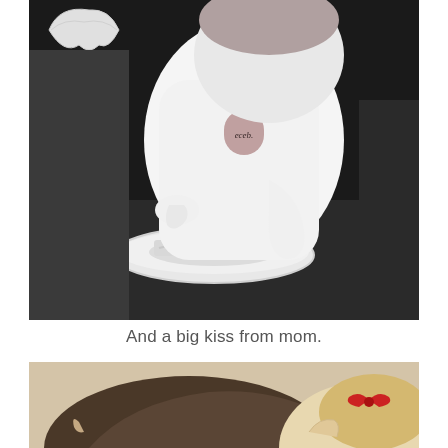[Figure (photo): Black and white photo of a baby or toddler in a white shirt sitting at a table with a plate of cake, appearing to smash or eat the cake with hands.]
And a big kiss from mom.
[Figure (photo): Color photo of a woman (mom) with dark hair kissing a baby with a red bow, both heads visible from above.]